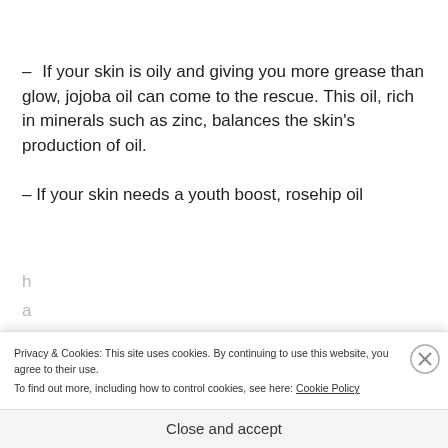– If your skin is oily and giving you more grease than glow, jojoba oil can come to the rescue. This oil, rich in minerals such as zinc, balances the skin's production of oil.
– If your skin needs a youth boost, rosehip oil h... a...
Privacy & Cookies: This site uses cookies. By continuing to use this website, you agree to their use. To find out more, including how to control cookies, see here: Cookie Policy
Close and accept